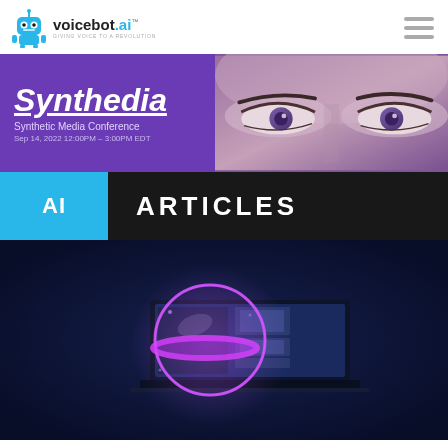voicebot.ai — GIVING VOICE TO A REVOLUTION
[Figure (illustration): Synthedia Synthetic Media Conference banner with purple background and close-up of woman's eyes on the right side. Text: Synthedia, Synthetic Media Conference, Sep 14, 2022 12:00PM - 3:00PM EDT]
AI ARTICLES
[Figure (photo): Dark navy blue background with a glowing purple/pink spherical orb and a laptop computer displaying a media interface with thumbnails]